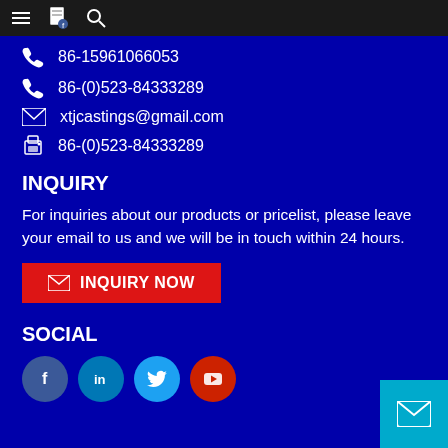Navigation bar with hamburger menu, document icon, and search icon
86-15961066053
86-(0)523-84333289
xtjcastings@gmail.com
86-(0)523-84333289
INQUIRY
For inquiries about our products or pricelist, please leave your email to us and we will be in touch within 24 hours.
INQUIRY NOW
SOCIAL
[Figure (other): Social media icons: Facebook, LinkedIn, Twitter, YouTube circles and a mail button]